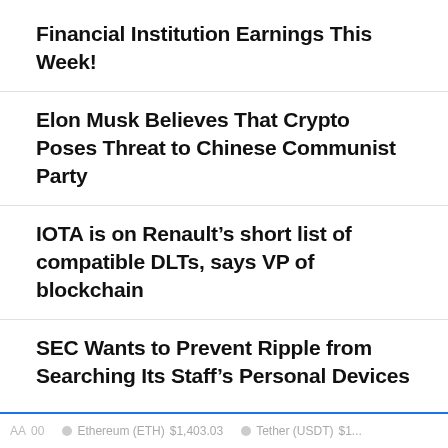Financial Institution Earnings This Week!
Elon Musk Believes That Crypto Poses Threat to Chinese Communist Party
IOTA is on Renault’s short list of compatible DLTs, says VP of blockchain
SEC Wants to Prevent Ripple from Searching Its Staff’s Personal Devices
Ethereum (ETH) $1,403.03  Tether (USDT) $1...